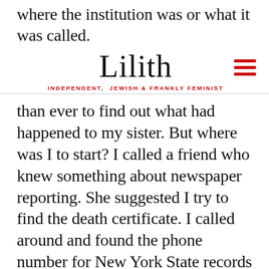where the institution was or what it was called.
Lilith — INDEPENDENT, JEWISH & FRANKLY FEMINIST
than ever to find out what had happened to my sister. But where was I to start? I called a friend who knew something about newspaper reporting. She suggested I try to find the death certificate. I called around and found the phone number for New York State records in Albany. Not knowing her birth date, I requested a search over a three-year period. I filled out the forms with the little information I had, mailed in the fee, and waited for information. Several weeks later the death